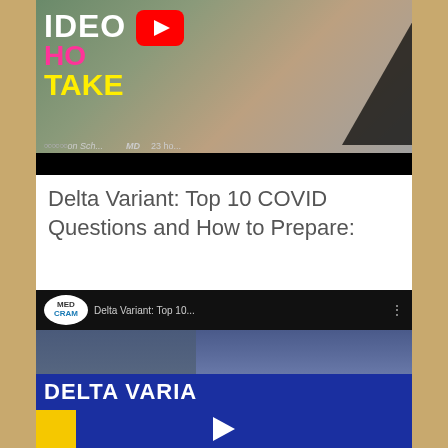[Figure (screenshot): YouTube video thumbnail showing 'VIDEO HOT TAKE' text with YouTube play button icon, pink and yellow styled text, and a man's face partially visible. Below is a black bar. Shows 'Simon Sch... MD' and '23 ho...' text.]
Delta Variant: Top 10 COVID Questions and How to Prepare:
[Figure (screenshot): YouTube video embed showing MedCram channel video titled 'Delta Variant: Top 10...' with a man's face visible and 'DELTA VARIA' text overlay on a blue background with play button.]